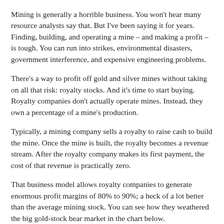Mining is generally a horrible business. You won't hear many resource analysts say that. But I've been saying it for years. Finding, building, and operating a mine – and making a profit – is tough. You can run into strikes, environmental disasters, government interference, and expensive engineering problems.
There's a way to profit off gold and silver mines without taking on all that risk: royalty stocks. And it's time to start buying. Royalty companies don't actually operate mines. Instead, they own a percentage of a mine's production.
Typically, a mining company sells a royalty to raise cash to build the mine. Once the mine is built, the royalty becomes a revenue stream. After the royalty company makes its first payment, the cost of that revenue is practically zero.
That business model allows royalty companies to generate enormous profit margins of 80% to 90%; a heck of a lot better than the average mining stock. You can see how they weathered the big gold-stock bear market in the chart below.